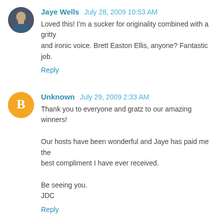Jaye Wells  July 28, 2009 10:53 AM
Loved this! I'm a sucker for originality combined with a gritty and ironic voice. Brett Easton Ellis, anyone? Fantastic job.
Reply
Unknown  July 29, 2009 2:33 AM
Thank you to everyone and gratz to our amazing winners!

Our hosts have been wonderful and Jaye has paid me the best compliment I have ever received.

Be seeing you.
JDC
Reply
Enter Comment